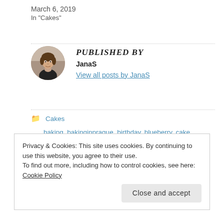March 6, 2019
In "Cakes"
[Figure (photo): Circular avatar photo of author JanaS]
PUBLISHED BY
JanaS
View all posts by JanaS
Cakes
baking, bakinginprague, birthday, blueberry, cake, mascarpone, quark
2 Comments
Privacy & Cookies: This site uses cookies. By continuing to use this website, you agree to their use.
To find out more, including how to control cookies, see here: Cookie Policy
Close and accept